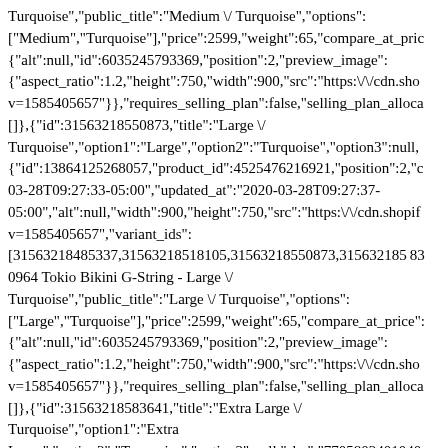Turquoise","public_title":"Medium \/ Turquoise","options":["Medium","Turquoise"],"price":2599,"weight":65,"compare_at_price":{"alt":null,"id":6035245793369,"position":2,"preview_image":{"aspect_ratio":1.2,"height":750,"width":900,"src":"https:\/\/cdn.shopv=1585405657"}},"requires_selling_plan":false,"selling_plan_allocations":[]},{"id":31563218550873,"title":"Large \/ Turquoise","option1":"Large","option2":"Turquoise","option3":null,{"id":13864125268057,"product_id":4525476216921,"position":2,"c03-28T09:27:33-05:00","updated_at":"2020-03-28T09:27:37-05:00","alt":null,"width":900,"height":750,"src":"https:\/\/cdn.shopifv=1585405657","variant_ids":[31563218485337,31563218518105,31563218550873,315632185830964 Tokio Bikini G-String - Large \/ Turquoise","public_title":"Large \/ Turquoise","options":["Large","Turquoise"],"price":2599,"weight":65,"compare_at_price":{"alt":null,"id":6035245793369,"position":2,"preview_image":{"aspect_ratio":1.2,"height":750,"width":900,"src":"https:\/\/cdn.shopv=1585405657"}},"requires_selling_plan":false,"selling_plan_allocations":[]},{"id":31563218583641,"title":"Extra Large \/ Turquoise","option1":"Extra Large","option2":"Turquoise","option3":null,"sku":"7705802401040{"id":13864125268057,"product_id":4525476216921,"position":2,"c03-28T09:27:33-05:00","updated_at":"2020-03-28T09:27:37-05:00","alt":null,"width":900,"height":750,"src":"https:\/\/cdn.shopifv=1585405657","variant_ids":